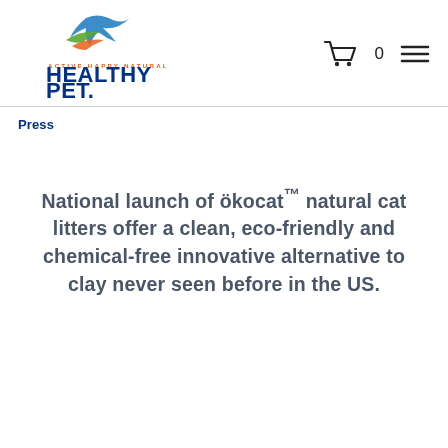[Figure (logo): Healthy Pet logo with bird graphic and tagline ACTIVE HAPPY NATURAL above HEALTHY PET. text in dark blue]
[Figure (other): Shopping cart icon with 0 count and hamburger menu icon]
Press
National launch of ökocat™ natural cat litters offer a clean, eco-friendly and chemical-free innovative alternative to clay never seen before in the US.